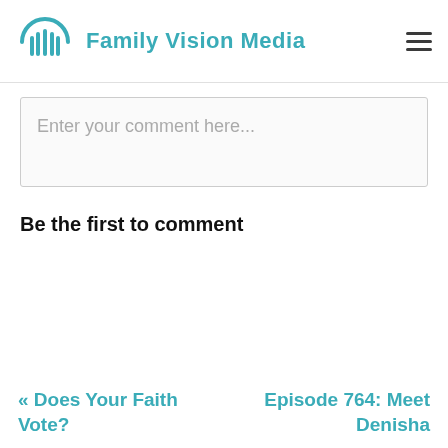Family Vision Media
Enter your comment here...
Be the first to comment
« Does Your Faith Vote?
Episode 764: Meet Denisha